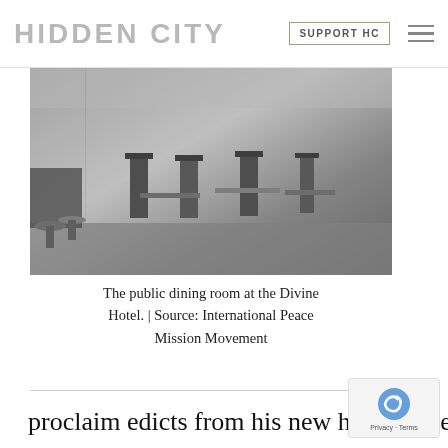HIDDEN CITY | SUPPORT HC
[Figure (photo): Black and white photo of the public dining room at the Divine Hotel, showing diner-style stools at a counter on the left and chairs/tables in the background.]
The public dining room at the Divine Hotel. | Source: International Peace Mission Movement
proclaim edicts from his new headquarters, most notably on October 9th, 1946 when he asked the U.N. to accept Philadelphia as capital of the world. Daily Holy